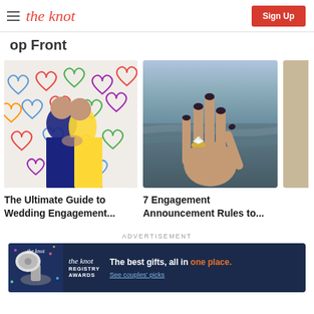the knot | Sign Up
op Front
[Figure (photo): Two men embracing in front of a wall painted with colorful hearts]
The Ultimate Guide to Wedding Engagement...
[Figure (photo): Hand with engagement ring extended toward ocean at sunset]
7 Engagement Announcement Rules to...
ADVERTISEMENT
[Figure (infographic): The Knot Registry Awards advertisement banner: The best gifts, all in one place. See couples' picks]